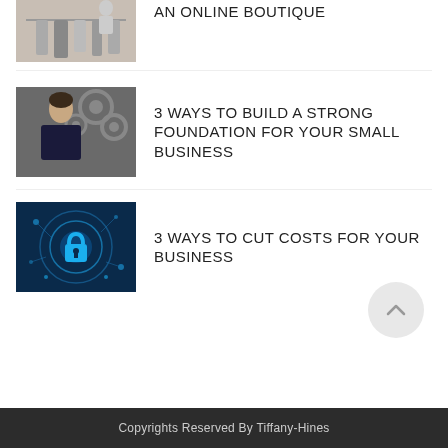[Figure (photo): Partial view of clothing on a rack with a person in the background, cropped at top]
AN ONLINE BOUTIQUE
[Figure (photo): Man in a dark shirt standing in front of gears/wheels on a wall]
3 WAYS TO BUILD A STRONG FOUNDATION FOR YOUR SMALL BUSINESS
[Figure (photo): Digital technology background with a glowing padlock icon and circuit elements in blue]
3 WAYS TO CUT COSTS FOR YOUR BUSINESS
Copyrights Reserved By Tiffany-Hines